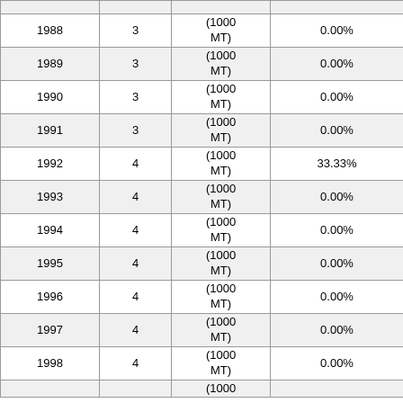| Year | Value | Unit | Change |
| --- | --- | --- | --- |
| 1988 | 3 | (1000 MT) | 0.00% |
| 1989 | 3 | (1000 MT) | 0.00% |
| 1990 | 3 | (1000 MT) | 0.00% |
| 1991 | 3 | (1000 MT) | 0.00% |
| 1992 | 4 | (1000 MT) | 33.33% |
| 1993 | 4 | (1000 MT) | 0.00% |
| 1994 | 4 | (1000 MT) | 0.00% |
| 1995 | 4 | (1000 MT) | 0.00% |
| 1996 | 4 | (1000 MT) | 0.00% |
| 1997 | 4 | (1000 MT) | 0.00% |
| 1998 | 4 | (1000 MT) | 0.00% |